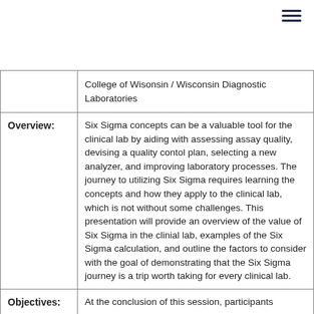|  | College of Wisonsin / Wisconsin Diagnostic Laboratories |
| Overview: | Six Sigma concepts can be a valuable tool for the clinical lab by aiding with assessing assay quality, devising a quality contol plan, selecting a new analyzer, and improving laboratory processes. The journey to utilizing Six Sigma requires learning the concepts and how they apply to the clinical lab, which is not without some challenges. This presentation will provide an overview of the value of Six Sigma in the clinial lab, examples of the Six Sigma calculation, and outline the factors to consider with the goal of demonstrating that the Six Sigma journey is a trip worth taking for every clinical lab. |
| Objectives: | At the conclusion of this session, participants |